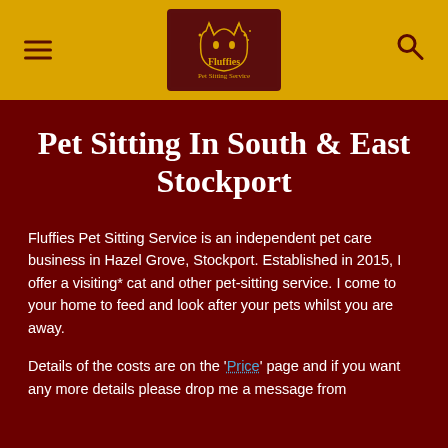Fluffies Pet Sitting Service – navigation header with logo, hamburger menu, and search icon
Pet Sitting In South & East Stockport
Fluffies Pet Sitting Service is an independent pet care business in Hazel Grove, Stockport. Established in 2015, I offer a visiting* cat and other pet-sitting service. I come to your home to feed and look after your pets whilst you are away.
Details of the costs are on the 'Price' page and if you want any more details please drop me a message from